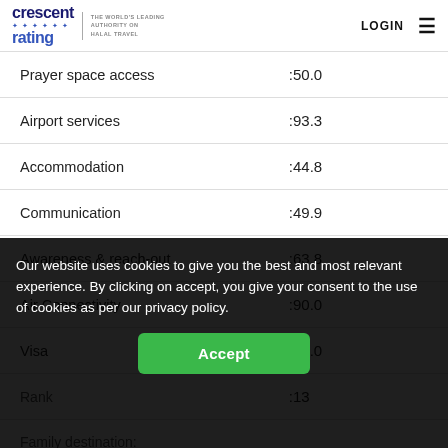crescent rating — THE WORLD'S LEADING AUTHORITY ON HALAL TRAVEL — LOGIN
| Category | Score |
| --- | --- |
| Prayer space access | :50.0 |
| Airport services | :93.3 |
| Accommodation | :44.8 |
| Communication | :49.9 |
| Awareness & reach-out | :63.8 |
| Air Connectivity | :90.0 |
| Visa | :85.0 |
| Rank | :13 |
| Family destination: |  |
Our website uses cookies to give you the best and most relevant experience. By clicking on accept, you give your consent to the use of cookies as per our privacy policy.